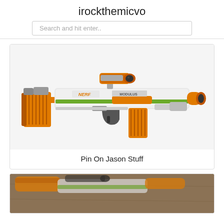irockthemicvo
Search and hit enter..
[Figure (photo): A Nerf Modulus toy blaster with orange and white body, green accents, scope attachment on top, and large orange dart magazines]
Pin On Jason Stuff
[Figure (photo): Close-up photo of Nerf Modulus toy blasters on a wooden surface, partially visible at bottom of page]